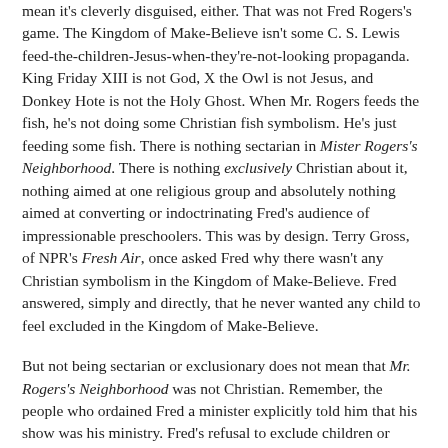mean it's cleverly disguised, either. That was not Fred Rogers's game. The Kingdom of Make-Believe isn't some C. S. Lewis feed-the-children-Jesus-when-they're-not-looking propaganda. King Friday XIII is not God, X the Owl is not Jesus, and Donkey Hote is not the Holy Ghost. When Mr. Rogers feeds the fish, he's not doing some Christian fish symbolism. He's just feeding some fish. There is nothing sectarian in Mister Rogers's Neighborhood. There is nothing exclusively Christian about it, nothing aimed at one religious group and absolutely nothing aimed at converting or indoctrinating Fred's audience of impressionable preschoolers. This was by design. Terry Gross, of NPR's Fresh Air, once asked Fred why there wasn't any Christian symbolism in the Kingdom of Make-Believe. Fred answered, simply and directly, that he never wanted any child to feel excluded in the Kingdom of Make-Believe.
But not being sectarian or exclusionary does not mean that Mr. Rogers's Neighborhood was not Christian. Remember, the people who ordained Fred a minister explicitly told him that his show was his ministry. Fred's refusal to exclude children or insist on any doctrinal labels was part of the deeply Christian mission. He did it without the superficial...